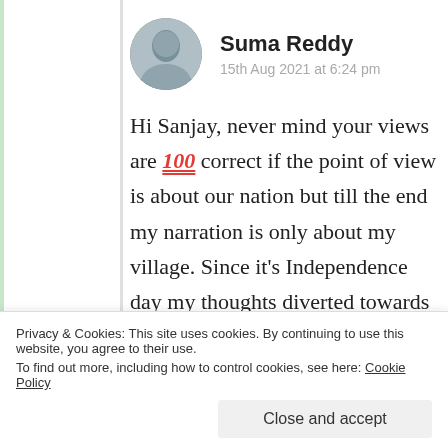Suma Reddy
15th Aug 2021 at 6:24 pm
Hi Sanjay, never mind your views are 💯 correct if the point of view is about our nation but till the end my narration is only about my village. Since it's Independence day my thoughts diverted towards our Country at the end. Thank you very much for taking
Privacy & Cookies: This site uses cookies. By continuing to use this website, you agree to their use.
To find out more, including how to control cookies, see here: Cookie Policy
Close and accept